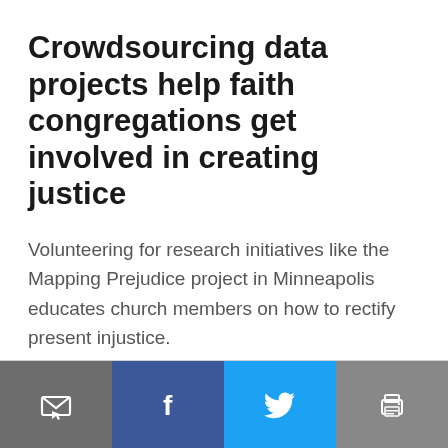Crowdsourcing data projects help faith congregations get involved in creating justice
Volunteering for research initiatives like the Mapping Prejudice project in Minneapolis educates church members on how to rectify present injustice.
By Todd Nelson
[Figure (other): Bottom navigation bar with four icon buttons: email/share (dark gray), Facebook (dark blue), Twitter (light blue), and print (gray)]